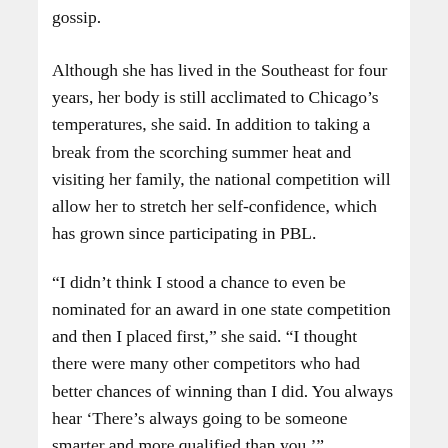gossip.
Although she has lived in the Southeast for four years, her body is still acclimated to Chicago's temperatures, she said. In addition to taking a break from the scorching summer heat and visiting her family, the national competition will allow her to stretch her self-confidence, which has grown since participating in PBL.
“I didn’t think I stood a chance to even be nominated for an award in one state competition and then I placed first,” she said. “I thought there were many other competitors who had better chances of winning than I did. You always hear ‘There’s always going to be someone smarter and more qualified than you.’”
“The truth is, you never know if you don’t try,” she continued. “You can take the easy way out and not put yourself in a position to be rejected, or you can try anyway and perhaps get a greater outcome than you